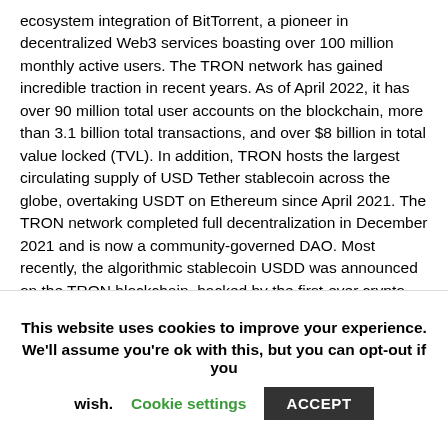ecosystem integration of BitTorrent, a pioneer in decentralized Web3 services boasting over 100 million monthly active users. The TRON network has gained incredible traction in recent years. As of April 2022, it has over 90 million total user accounts on the blockchain, more than 3.1 billion total transactions, and over $8 billion in total value locked (TVL). In addition, TRON hosts the largest circulating supply of USD Tether stablecoin across the globe, overtaking USDT on Ethereum since April 2021. The TRON network completed full decentralization in December 2021 and is now a community-governed DAO. Most recently, the algorithmic stablecoin USDD was announced on the TRON blockchain, backed by the first-ever crypto reserve for the blockchain industry – TRON DAO Reserve, marking TRON's official entry into decentralized stablecoins.
Website | Telegram | Medium | Twitter | YouTube | Reddit | GitHub
This website uses cookies to improve your experience. We'll assume you're ok with this, but you can opt-out if you wish. Cookie settings ACCEPT